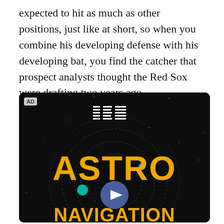expected to hit as much as other positions, just like at short, so when you combine his developing defense with his developing bat, you find the catcher that prospect analysts thought the Red Sox were drafting two years ago.
[Figure (other): IBM advertisement for 'ASTRO NAVIGATION' campaign. Dark background with stars, IBM striped logo at top, large gold/yellow text 'ASTRO' and 'NAVIGATION' with a play button in the center, and concentric circle orbit graphics.]